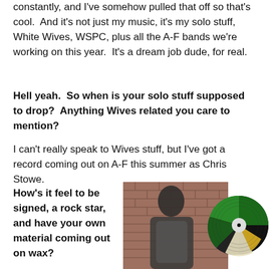constantly, and I've somehow pulled that off so that's cool. And it's not just my music, it's my solo stuff, White Wives, WSPC, plus all the A-F bands we're working on this year. It's a dream job dude, for real.
Hell yeah. So when is your solo stuff supposed to drop? Anything Wives related you care to mention?
I can't really speak to Wives stuff, but I've got a record coming out on A-F this summer as Chris Stowe.
How's it feel to be signed, a rock star, and have your own material coming out on wax?
[Figure (photo): A young man standing in front of a brick wall, wearing a grey t-shirt, with a green and black vinyl record visible to the right side.]